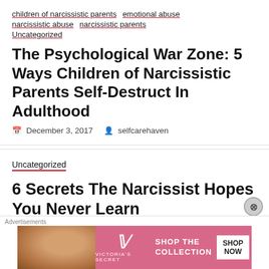children of narcissistic parents   emotional abuse   narcissistic abuse   narcissistic parents   Uncategorized
The Psychological War Zone: 5 Ways Children of Narcissistic Parents Self-Destruct In Adulthood
December 3, 2017   selfcarehaven
Uncategorized
6 Secrets The Narcissist Hopes You Never Learn
Advertisements